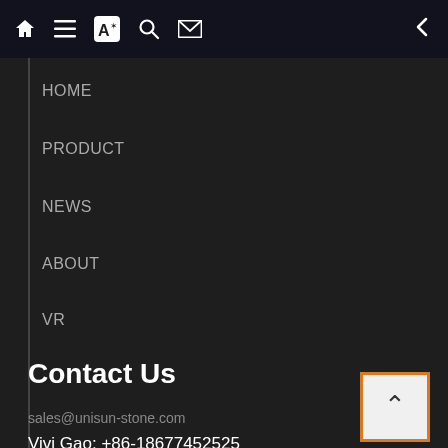Navigation bar with home, list, translate, search, mail icons and back arrow
HOME
PRODUCT
NEWS
ABOUT
VR
CONTACT
Contact Us
sales@unisun-stone.com
Vivi Gao: +86-18677452525
Kathy Yu: +86 18278434058